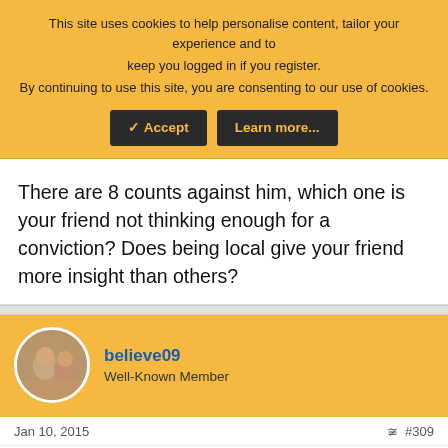This site uses cookies to help personalise content, tailor your experience and to keep you logged in if you register.
By continuing to use this site, you are consenting to our use of cookies.
✓ Accept | Learn more...
There are 8 counts against him, which one is your friend not thinking enough for a conviction? Does being local give your friend more insight than others?
believe09
Well-Known Member
Jan 10, 2015   #309
I think they had enough evidence for a conviction the moment